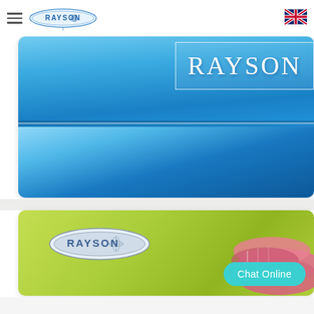Rayson website header with hamburger menu, RAYSON logo, and UK flag
[Figure (photo): Blue nonwoven fabric rolls with RAYSON brand label on top right corner, shown folded on a light blue background]
[Figure (photo): Green background product image with RAYSON logo oval badge on left and pink/coral colored rolled products on the right, with a cyan Chat Online button overlay]